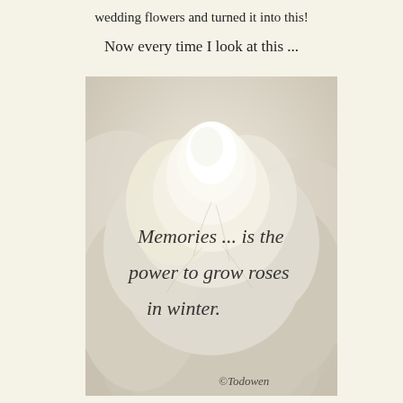wedding flowers and turned it into this!
Now every time I look at this ...
[Figure (photo): Close-up photo of a white rose with italic script text overlay reading 'Memories ... is the power to grow roses in winter.' and a copyright mark 'Todowen' in the lower right corner.]